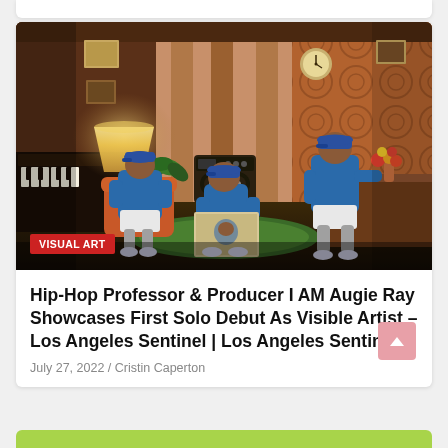[Figure (photo): Promotional photo showing the same man (I AM Augie Ray) appearing three times in a vintage-styled room: sitting in a chair on the left, sitting on the floor in the center holding a newspaper/album, and standing on the right. All wear matching blue denim jackets, blue caps, white shorts, and black socks. The room has warm tones with a lamp, piano, plants, retro stereo, and patterned wallpaper. A red 'VISUAL ART' badge overlays the bottom-left of the photo.]
Hip-Hop Professor & Producer I AM Augie Ray Showcases First Solo Debut As Visible Artist – Los Angeles Sentinel | Los Angeles Sentinel
July 27, 2022 / Cristin Caperton